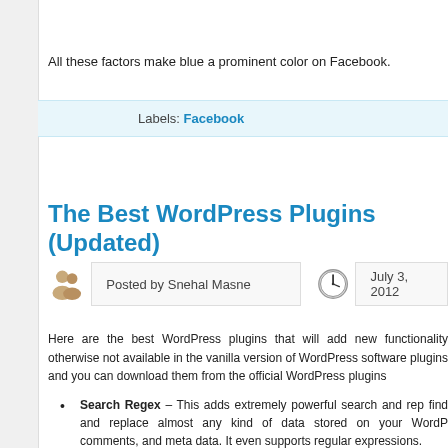All these factors make blue a prominent color on Facebook.
Labels: Facebook
The Best WordPress Plugins (Updated)
Posted by Snehal Masne
July 3, 2012
Here are the best WordPress plugins that will add new functionality otherwise not available in the vanilla version of WordPress software plugins and you can download them from the official WordPress plugins
Search Regex – This adds extremely powerful search and rep find and replace almost any kind of data stored on your WordP comments, and meta data. It even supports regular expressions.
Redirection – If the URL of an existing post has changed or